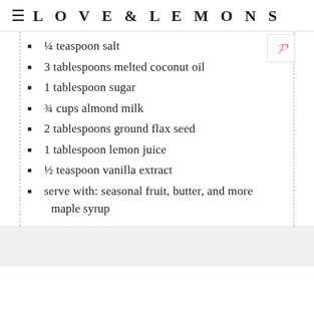LOVE & LEMONS
¼ teaspoon salt
3 tablespoons melted coconut oil
1 tablespoon sugar
¾ cups almond milk
2 tablespoons ground flax seed
1 tablespoon lemon juice
½ teaspoon vanilla extract
serve with: seasonal fruit, butter, and more maple syrup